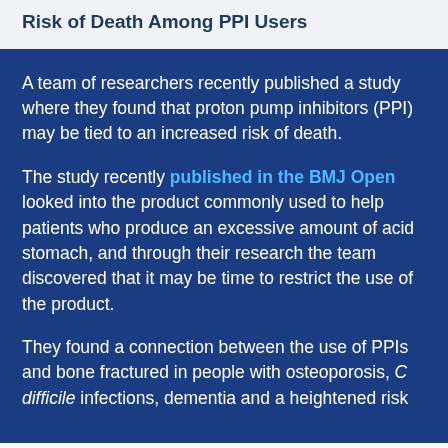Risk of Death Among PPI Users
A team of researchers recently published a study where they found that proton pump inhibitors (PPI) may be tied to an increased risk of death.
The study recently published in the BMJ Open looked into the product commonly used to help patients who produce an excessive amount of acid stomach, and through their research the team discovered that it may be time to restrict the use of the product.
They found a connection between the use of PPIs and bone fractured in people with osteoporosis, C difficile infections, dementia and a heightened risk